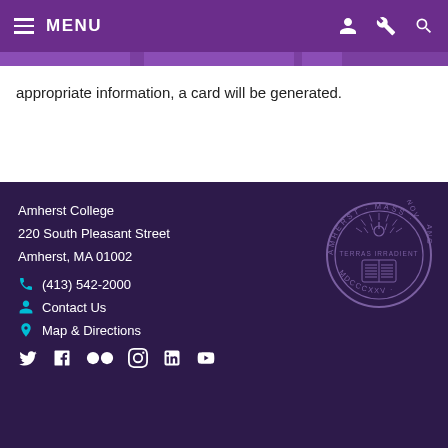MENU
appropriate information, a card will be generated.
Amherst College
220 South Pleasant Street
Amherst, MA 01002
(413) 542-2000
Contact Us
Map & Directions